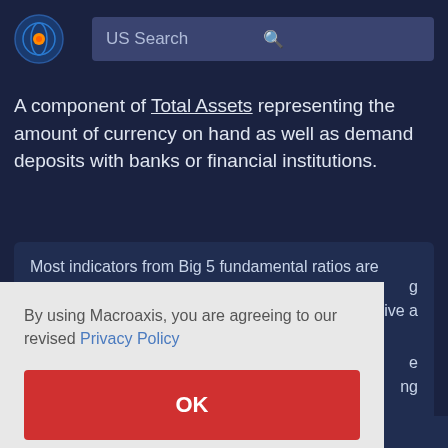US Search
A component of Total Assets representing the amount of currency on hand as well as demand deposits with banks or financial institutions.
Most indicators from Big 5 fundamental ratios are
By using Macroaxis, you are agreeing to our revised Privacy Policy
OK
Selling General and Administrative Expense is fairly